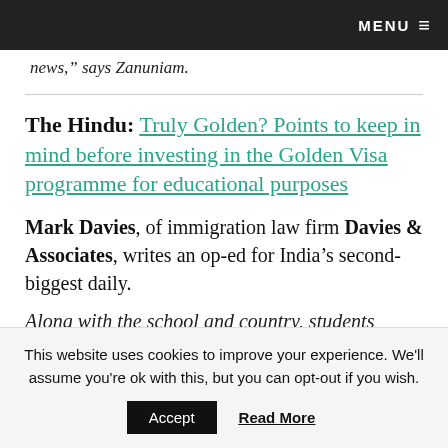MENU
news, says Zanuniam.
The Hindu: Truly Golden? Points to keep in mind before investing in the Golden Visa programme for educational purposes
Mark Davies, of immigration law firm Davies & Associates, writes an op-ed for India's second-biggest daily.
Along with the school and country, students
This website uses cookies to improve your experience. We'll assume you're ok with this, but you can opt-out if you wish. Accept  Read More